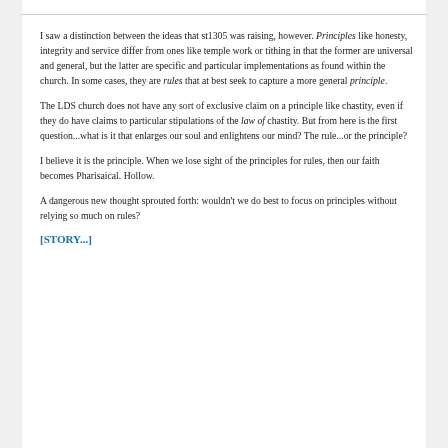I saw a distinction between the ideas that st1305 was raising, however. Principles like honesty, integrity and service differ from ones like temple work or tithing in that the former are universal and general, but the latter are specific and particular implementations as found within the church. In some cases, they are rules that at best seek to capture a more general principle.
The LDS church does not have any sort of exclusive claim on a principle like chastity, even if they do have claims to particular stipulations of the law of chastity. But from here is the first question...what is it that enlarges our soul and enlightens our mind? The rule...or the principle?
I believe it is the principle. When we lose sight of the principles for rules, then our faith becomes Pharisaical. Hollow.
A dangerous new thought sprouted forth: wouldn't we do best to focus on principles without relying so much on rules?
[STORY...]